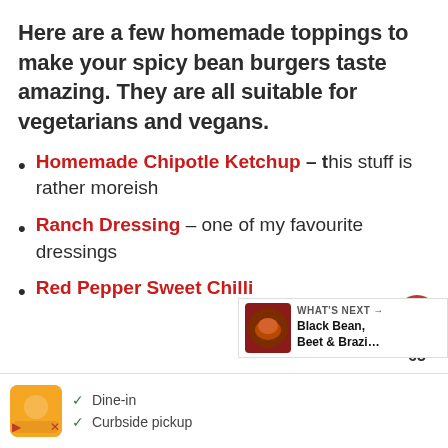Here are a few homemade toppings to make your spicy bean burgers taste amazing. They are all suitable for vegetarians and vegans.
Homemade Chipotle Ketchup – this stuff is rather moreish
Ranch Dressing – one of my favourite dressings
Red Pepper Sweet Chilli...